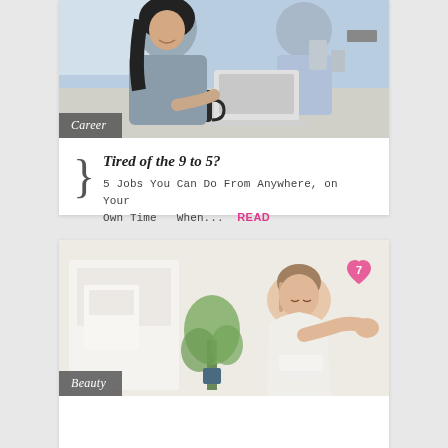[Figure (photo): Woman with long dark hair in grey sweater sitting at kitchen counter with laptop and black coffee mug, man in light blue shirt in background near kitchen appliances. Category label 'Career' overlaid at bottom left.]
} Tired of the 9 to 5?
5 Jobs You Can Do From Anywhere, on Your Own Time   When...  READ
[Figure (photo): Young woman in white tank top applying lotion/cream to her arm, sitting cross-legged. Green plant and white bathroom elements in background. Heart badge with number 7 in top right corner. Category label 'Beauty' overlaid at bottom left.]